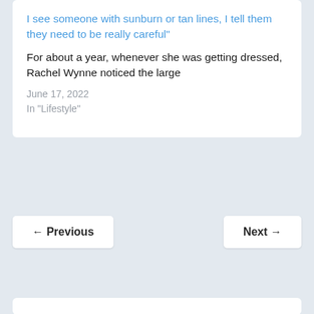I see someone with sunburn or tan lines, I tell them they need to be really careful"
For about a year, whenever she was getting dressed, Rachel Wynne noticed the large
June 17, 2022
In "Lifestyle"
← Previous
Next →